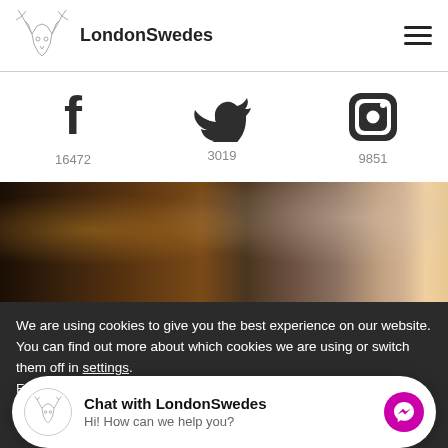LondonSwedes
[Figure (infographic): Social media icons row: Facebook (16472 followers), Twitter (3019 followers), Instagram (9851 followers)]
[Figure (photo): Dark photo of people at a social gathering or restaurant, woman in white jacket visible]
We are using cookies to give you the best experience on our website.
You can find out more about which cookies we are using or switch them off in settings.
For more information about how our site uses cookies, please
Chat with LondonSwedes
Hi! How can we help you?